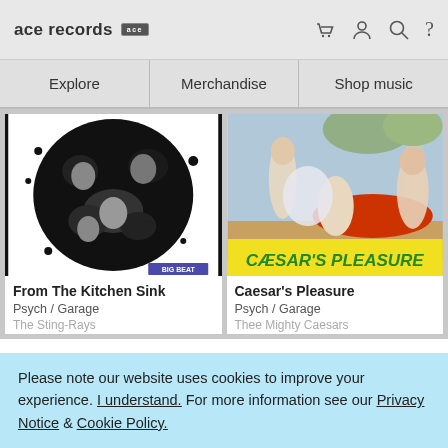ace records [logo]
Explore | Merchandise | Shop music
[Figure (photo): Black and white photo of a band (The Sting-Rays) on album cover 'From The Kitchen Sink' with ink splatter design]
From The Kitchen Sink
Psych / Garage
The Sting-Rays
[Figure (photo): Classical painting style album cover for 'Caesar's Pleasure' by Thee Mighty Caesars showing ancient Roman scene with yellow banner text]
Caesar's Pleasure
Psych / Garage
Thee Mighty Caesars
Please note our website uses cookies to improve your experience. I understand. For more information see our Privacy Notice & Cookie Policy.